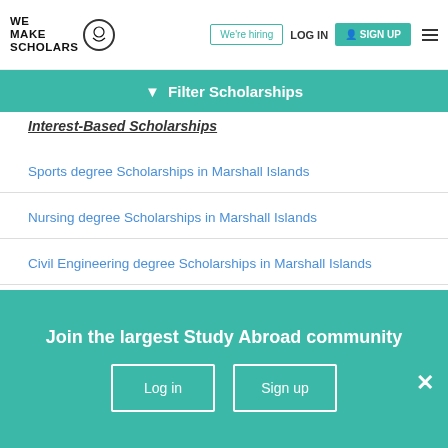We Make Scholars — We're hiring | LOG IN | SIGN UP
Filter Scholarships
Interest-Based Scholarships
Sports degree Scholarships in Marshall Islands
Nursing degree Scholarships in Marshall Islands
Civil Engineering degree Scholarships in Marshall Islands
Mechanical Engineering degree Scholarships in Marshall Islands
Film degree Scholarships in Marshall Islands
Join the largest Study Abroad community
Log in
Sign up